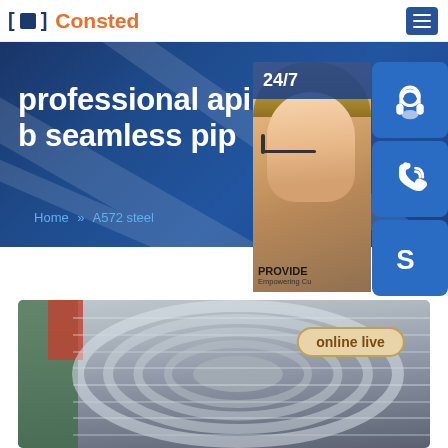Consted
professional api 5l a10 b seamless pip
Home >> A572 steel
[Figure (photo): Customer service representative with headset, 24/7 support panel with headset icon, phone icon, Skype icon, online live button, and text PROVIDE Empowering Cu...]
[Figure (photo): Steel coil rolls stacked in a warehouse, showing silver metallic coils from the side]